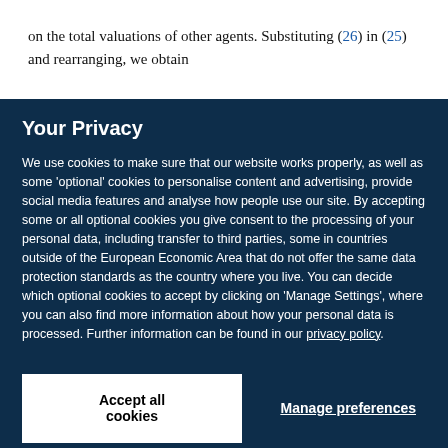on the total valuations of other agents. Substituting (26) in (25) and rearranging, we obtain
Your Privacy
We use cookies to make sure that our website works properly, as well as some 'optional' cookies to personalise content and advertising, provide social media features and analyse how people use our site. By accepting some or all optional cookies you give consent to the processing of your personal data, including transfer to third parties, some in countries outside of the European Economic Area that do not offer the same data protection standards as the country where you live. You can decide which optional cookies to accept by clicking on 'Manage Settings', where you can also find more information about how your personal data is processed. Further information can be found in our privacy policy.
Accept all cookies
Manage preferences